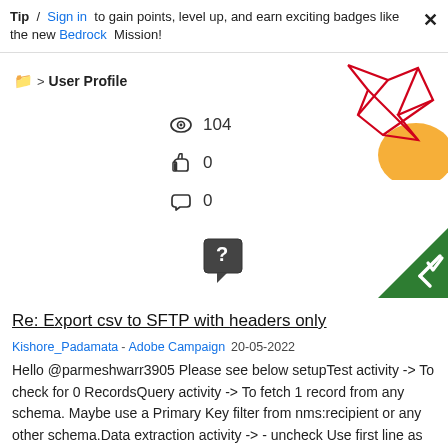Tip / Sign in to gain points, level up, and earn exciting badges like the new Bedrock Mission!
User Profile
[Figure (illustration): Decorative geometric red lines and orange circle in top right corner]
104 views, 0 likes, 0 replies
[Figure (illustration): Question mark speech bubble icon in center, green checkmark triangle in top right]
Re: Export csv to SFTP with headers only
Kishore_Padamata - Adobe Campaign  20-05-2022
Hello @parmeshwarr3905 Please see below setupTest activity -> To check for 0 RecordsQuery activity -> To fetch 1 record from any schema. Maybe use a Primary Key filter from nms:recipient or any other schema.Data extraction activity -> - uncheck Use first line as column header- Data formatting step, provide the